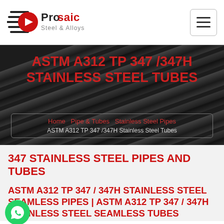[Figure (logo): Prosaic Steel & Alloys logo with arrow/lines icon]
ASTM A312 TP 347 /347H STAINLESS STEEL TUBES
Home   Pipe & Tubes   Stainless Steel Pipes   ASTM A312 TP 347 /347H Stainless Steel Tubes
347 STAINLESS STEEL PIPES AND TUBES
ASTM A312 TP 347 / 347H STAINLESS STEEL SEAMLESS PIPES | ASTM A312 TP 347 / 347H STAINLESS STEEL SEAMLESS TUBES